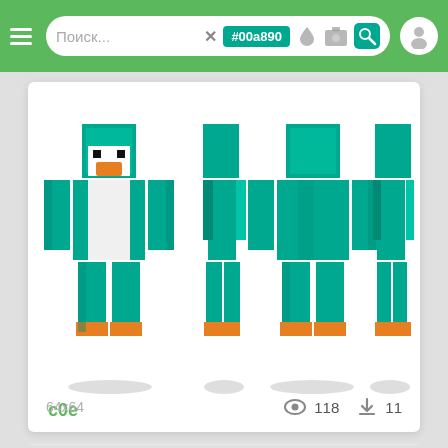Поиск... #00a890
[Figure (screenshot): Minecraft duck/bird character skin shown in four views (front, side, back, side) rendered in pixel art style. The character wears a teal/cyan body suit with white belly, an orange duck bill, orange boots, and a white head with teal cap.]
c0e
64x64   118   11